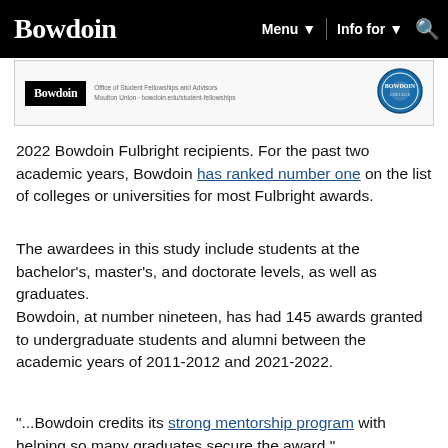Bowdoin  Menu ▼  |  Info for ▼  🔍
[Figure (screenshot): Partial screenshot of Bowdoin college webpage showing Bowdoin logo and a circular seal/logo]
2022 Bowdoin Fulbright recipients. For the past two academic years, Bowdoin has ranked number one on the list of colleges or universities for most Fulbright awards.
The awardees in this study include students at the bachelor's, master's, and doctorate levels, as well as graduates.
Bowdoin, at number nineteen, has had 145 awards granted to undergraduate students and alumni between the academic years of 2011-2012 and 2021-2022.
"...Bowdoin credits its strong mentorship program with helping so many graduates secure the award,"